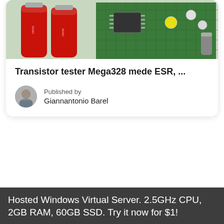[Figure (photo): Photo of electronics components including red cylindrical batteries/capacitors and a green circuit board with components]
Transistor tester Mega328 mede ESR, ...
Published by
Giannantonio Barel
[Figure (photo): Small circular author avatar photo of Giannantonio Barel]
Hosted Windows Virtual Server. 2.5GHz CPU, 2GB RAM, 60GB SSD. Try it now for $1!